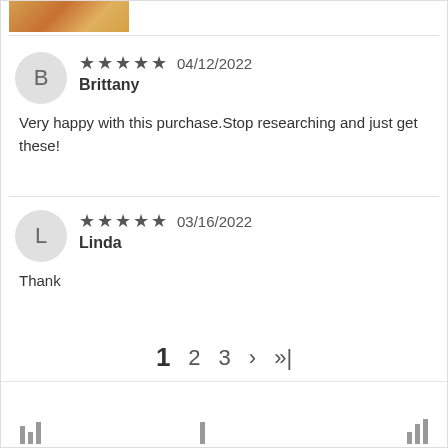[Figure (photo): Partial product photo showing packaging with CE mark and logo]
B — Brittany — 5 stars — 04/12/2022 — Very happy with this purchase.Stop researching and just get these!
L — Linda — 5 stars — 03/16/2022 — Thank
1  2  3  >  >|